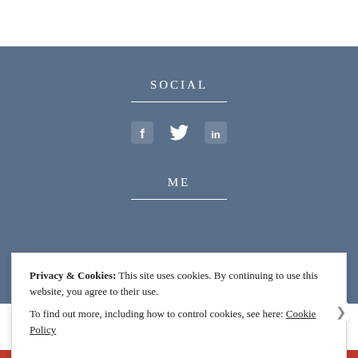SOCIAL
[Figure (illustration): Social media icons: Facebook (f), Twitter (bird), LinkedIn (in) in white on blue background]
ME
Hello. Follow my journey as I transition from award-
Privacy & Cookies: This site uses cookies. By continuing to use this website, you agree to their use.
To find out more, including how to control cookies, see here: Cookie Policy
Close and accept